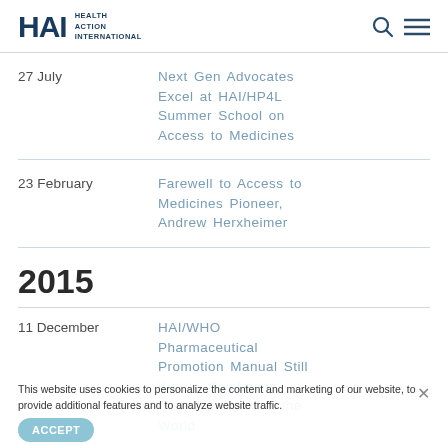HAI Health Action International
27 July – Next Gen Advocates Excel at HAI/HP4L Summer School on Access to Medicines
23 February – Farewell to Access to Medicines Pioneer, Andrew Herxheimer
2015
11 December – HAI/WHO Pharmaceutical Promotion Manual Still Key to Combating Promotion around the World
This website uses cookies to personalize the content and marketing of our website, to provide additional features and to analyze website traffic.